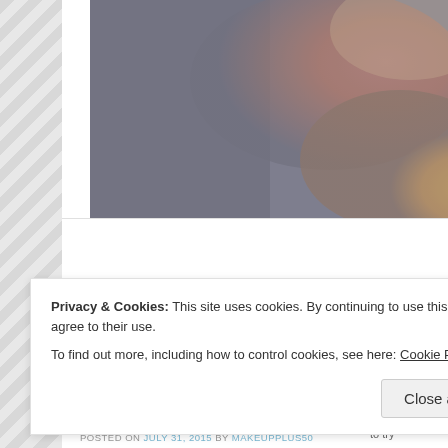[Figure (photo): Partial view of a colorful nebula or abstract atmospheric image in grey, pink, and golden tones — top portion of a blog article header image.]
Better off red: Why you can (and sh... wear bright lipstick
POSTED ON JULY 31, 2015 BY MAKEUPPLUS50
Privacy & Cookies: This site uses cookies. By continuing to use this website, you agree to their use.
To find out more, including how to control cookies, see here: Cookie Policy
Close and accept
the adventurous to try